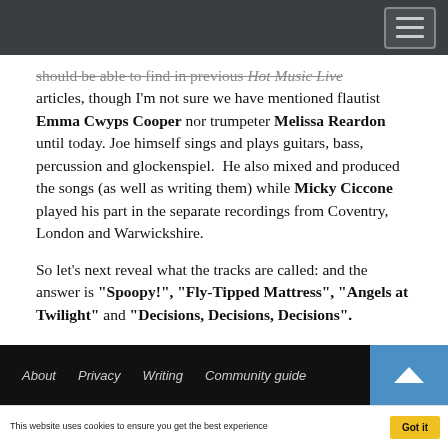[navigation bar with hamburger menu]
should be able to find in previous Hot Music Live articles, though I'm not sure we have mentioned flautist Emma Cwyps Cooper nor trumpeter Melissa Reardon until today. Joe himself sings and plays guitars, bass, percussion and glockenspiel. He also mixed and produced the songs (as well as writing them) while Micky Ciccone played his part in the separate recordings from Coventry, London and Warwickshire.
So let's next reveal what the tracks are called: and the answer is "Spoopy!", "Fly-Tipped Mattress", "Angels at Twilight" and "Decisions, Decisions, Decisions".
About  Privacy  Writing  Community guidelines